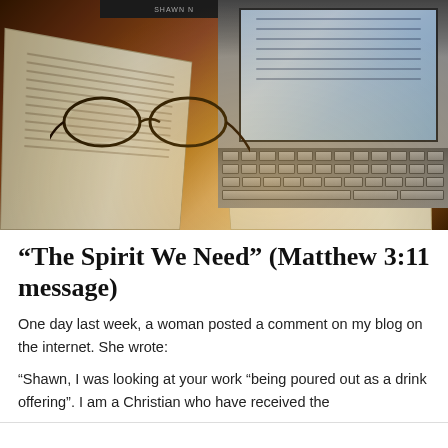[Figure (photo): Photo of an open book with reading glasses resting on it, and a laptop with an open screen in the background, all on a wooden desk with warm amber lighting.]
“The Spirit We Need” (Matthew 3:11 message)
One day last week, a woman posted a comment on my blog on the internet. She wrote:
“Shawn, I was looking at your work “being poured out as a drink offering”. I am a Christian who have received the